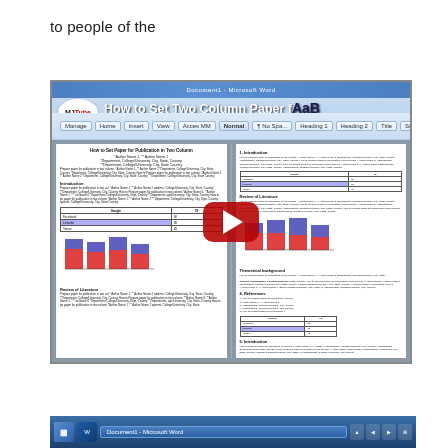to people of the
[Figure (screenshot): YouTube video thumbnail showing a Microsoft Word tutorial titled 'How to Set Two Column Paper f...' with MJTube logo, Word ribbon interface, a two-column academic paper document visible, and a red play button in the center. A Windows taskbar is visible at the bottom of the screenshot.]